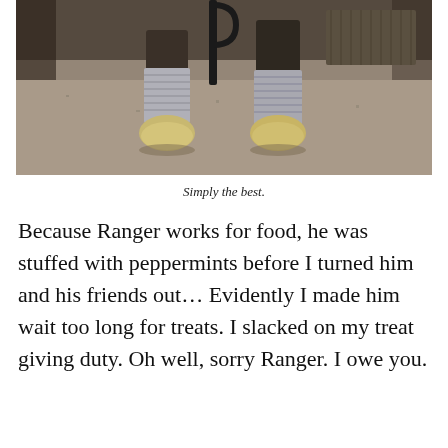[Figure (photo): Close-up photograph of the lower legs and hooves of a horse standing on a concrete stable floor, with wrappings/bandages on the legs. A black metal stand or tie is visible in the background along with a mat.]
Simply the best.
Because Ranger works for food, he was stuffed with peppermints before I turned him and his friends out… Evidently I made him wait too long for treats. I slacked on my treat giving duty. Oh well, sorry Ranger. I owe you.